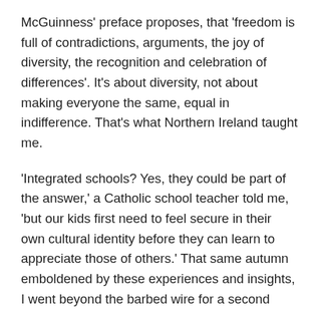McGuinness' preface proposes, that 'freedom is full of contradictions, arguments, the joy of diversity, the recognition and celebration of differences'. It's about diversity, not about making everyone the same, equal in indifference. That's what Northern Ireland taught me.
'Integrated schools? Yes, they could be part of the answer,' a Catholic school teacher told me, 'but our kids first need to feel secure in their own cultural identity before they can learn to appreciate those of others.' That same autumn emboldened by these experiences and insights, I went beyond the barbed wire for a second time, this time visiting Hungary, at that time still behind the iron curtain. My well-travelled Quaker colleague asked if the sight of heavily armed police at the airport troubled me. Not after my visit to Ulster, I thought!